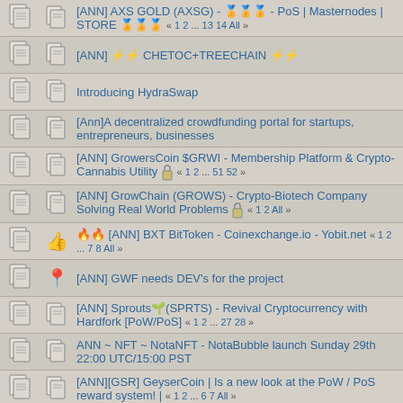[ANN] AXS GOLD (AXSG) - PoS | Masternodes | STORE « 1 2 ... 13 14 All »
[ANN] ⚡⚡ CHETOC+TREECHAIN ⚡⚡
Introducing HydraSwap
[Ann]A decentralized crowdfunding portal for startups, entrepreneurs, businesses
[ANN] GrowersCoin $GRWI - Membership Platform & Crypto-Cannabis Utility « 1 2 ... 51 52 »
[ANN] GrowChain (GROWS) - Crypto-Biotech Company Solving Real World Problems « 1 2 All »
[ANN] BXT BitToken - Coinexchange.io - Yobit.net « 1 2 ... 7 8 All »
[ANN] GWF needs DEV's for the project
[ANN] Sprouts(SPRTS) - Revival Cryptocurrency with Hardfork [PoW/PoS] « 1 2 ... 27 28 »
ANN ~ NFT ~ NotaNFT - NotaBubble launch Sunday 29th 22:00 UTC/15:00 PST
[ANN][GSR] GeyserCoin | Is a new look at the PoW / PoS reward system! | « 1 2 ... 6 7 All »
[Ann] NewB.Farm is it's simple operations and simple profitability! « 1 2 All »